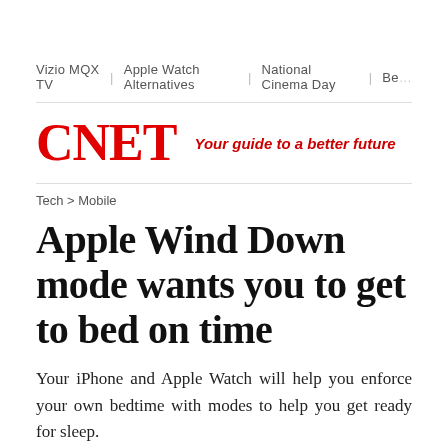Vizio MQX TV | Apple Watch Alternatives | National Cinema Day | Be…
[Figure (logo): CNET logo in red with tagline 'Your guide to a better future' in red italic]
Tech > Mobile
Apple Wind Down mode wants you to get to bed on time
Your iPhone and Apple Watch will help you enforce your own bedtime with modes to help you get ready for sleep.